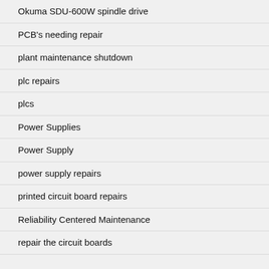Okuma SDU-600W spindle drive
PCB's needing repair
plant maintenance shutdown
plc repairs
plcs
Power Supplies
Power Supply
power supply repairs
printed circuit board repairs
Reliability Centered Maintenance
repair the circuit boards